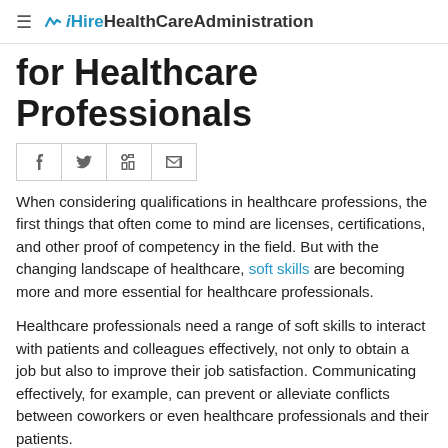≡ ✗ iHireHealthCareAdministration
for Healthcare Professionals
[Figure (other): Social share buttons: Facebook, Twitter, LinkedIn, Email]
When considering qualifications in healthcare professions, the first things that often come to mind are licenses, certifications, and other proof of competency in the field. But with the changing landscape of healthcare, soft skills are becoming more and more essential for healthcare professionals.
Healthcare professionals need a range of soft skills to interact with patients and colleagues effectively, not only to obtain a job but also to improve their job satisfaction. Communicating effectively, for example, can prevent or alleviate conflicts between coworkers or even healthcare professionals and their patients.
The rest of the text continues below (cut off)...